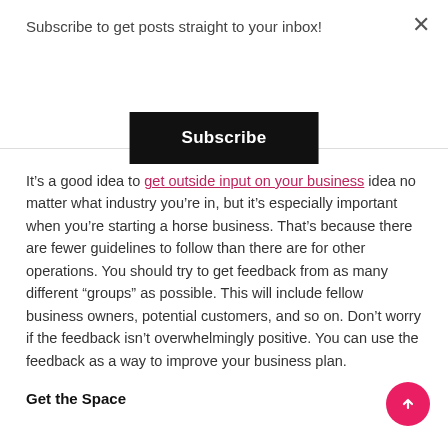Subscribe to get posts straight to your inbox!
Subscribe
It’s a good idea to get outside input on your business idea no matter what industry you’re in, but it’s especially important when you’re starting a horse business. That’s because there are fewer guidelines to follow than there are for other operations. You should try to get feedback from as many different “groups” as possible. This will include fellow business owners, potential customers, and so on. Don’t worry if the feedback isn’t overwhelmingly positive. You can use the feedback as a way to improve your business plan.
Get the Space